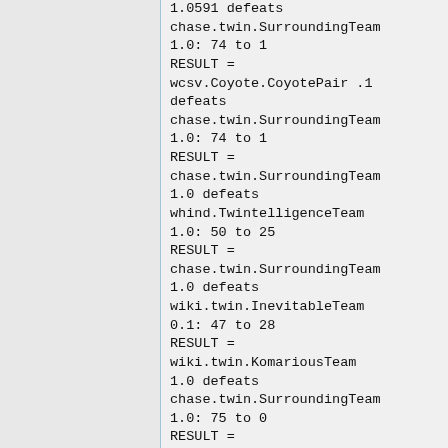1.0591 defeats chase.twin.SurroundingTeam 1.0: 74 to 1
RESULT = wcsv.Coyote.CoyotePair .1 defeats chase.twin.SurroundingTeam 1.0: 74 to 1
RESULT = chase.twin.SurroundingTeam 1.0 defeats whind.TwintelligenceTeam 1.0: 50 to 25
RESULT = chase.twin.SurroundingTeam 1.0 defeats wiki.twin.InevitableTeam 0.1: 47 to 28
RESULT = wiki.twin.KomariousTeam 1.0 defeats chase.twin.SurroundingTeam 1.0: 75 to 0
RESULT = davidalves.twin.YinYang